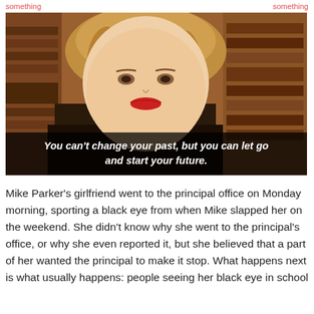[Figure (photo): A young blonde woman with red lips sitting in front of a bookshelf, with an overlaid text caption reading: You can't change your past, but you can let go and start your future.]
Mike Parker’s girlfriend went to the principal office on Monday morning, sporting a black eye from when Mike slapped her on the weekend. She didn’t know why she went to the principal’s office, or why she even reported it, but she believed that a part of her wanted the principal to make it stop. What happens next is what usually happens: people seeing her black eye in school